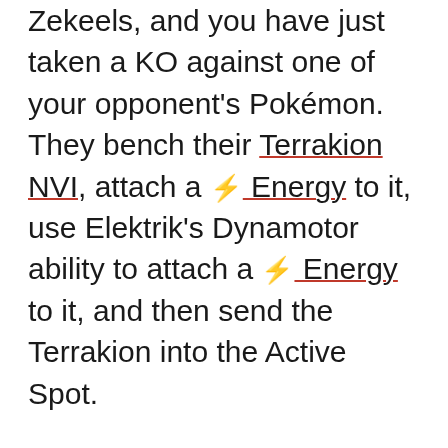Zekeels, and you have just taken a KO against one of your opponent's Pokémon. They bench their Terrakion NVI, attach a ⚡ Energy to it, use Elektrik's Dynamotor ability to attach a ⚡ Energy to it, and then send the Terrakion into the Active Spot.
However, after all that, your opponent realizes he can't take the KO because of Eviolite (Math Time: Retaliate does 180 damage to Darkrai via Weakness, and Eviolite reduces that damage to 160